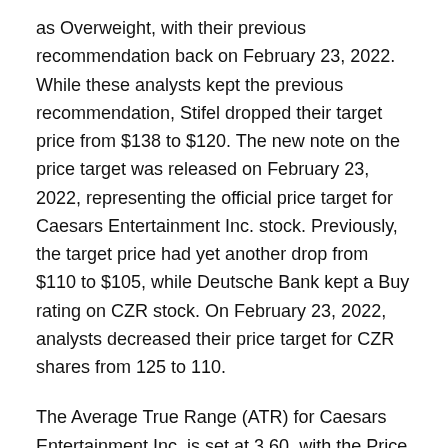as Overweight, with their previous recommendation back on February 23, 2022. While these analysts kept the previous recommendation, Stifel dropped their target price from $138 to $120. The new note on the price target was released on February 23, 2022, representing the official price target for Caesars Entertainment Inc. stock. Previously, the target price had yet another drop from $110 to $105, while Deutsche Bank kept a Buy rating on CZR stock. On February 23, 2022, analysts decreased their price target for CZR shares from 125 to 110.
The Average True Range (ATR) for Caesars Entertainment Inc. is set at 3.60, with the Price to Sales ratio for CZR stock in the period of the last 12 months amounting to 1.09. The Price to Book ratio for the last quarter was 2.84. Price to Free Cash Flow for CZR in the course of the last twelve months was 59.26 with Quick ratio for the last quarter at